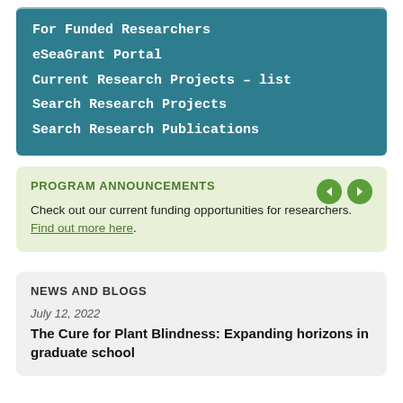For Funded Researchers
eSeaGrant Portal
Current Research Projects – list
Search Research Projects
Search Research Publications
PROGRAM ANNOUNCEMENTS
Check out our current funding opportunities for researchers. Find out more here.
NEWS AND BLOGS
July 12, 2022
The Cure for Plant Blindness: Expanding horizons in graduate school